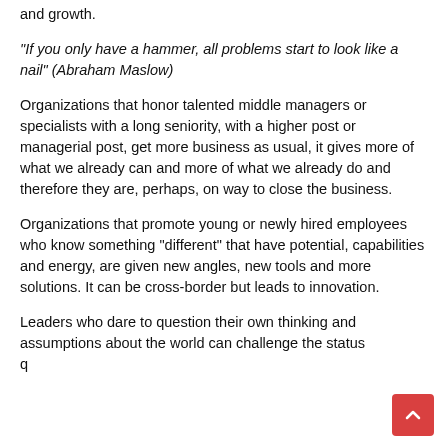and growth.
"If you only have a hammer, all problems start to look like a nail" (Abraham Maslow)
Organizations that honor talented middle managers or specialists with a long seniority, with a higher post or managerial post, get more business as usual, it gives more of what we already can and more of what we already do and therefore they are, perhaps, on way to close the business.
Organizations that promote young or newly hired employees who know something "different" that have potential, capabilities and energy, are given new angles, new tools and more solutions. It can be cross-border but leads to innovation.
Leaders who dare to question their own thinking and assumptions about the world can challenge the status q